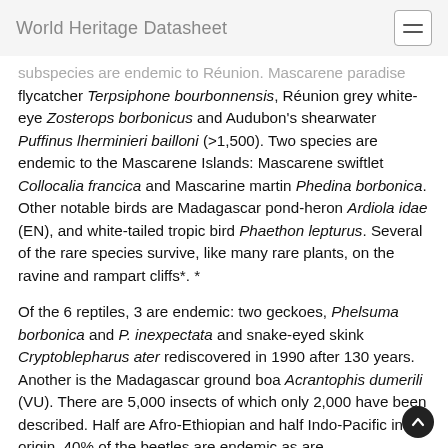World Heritage Datasheet
subspecies are endemic to Réunion. Mascarene paradise flycatcher Terpsiphone bourbonnensis, Réunion grey white-eye Zosterops borbonicus and Audubon's shearwater Puffinus lherminieri bailloni (>1,500). Two species are endemic to the Mascarene Islands: Mascarene swiftlet Collocalia francica and Mascarine martin Phedina borbonica. Other notable birds are Madagascar pond-heron Ardiola idae (EN), and white-tailed tropic bird Phaethon lepturus. Several of the rare species survive, like many rare plants, on the ravine and rampart cliffs*. *
Of the 6 reptiles, 3 are endemic: two geckoes, Phelsuma borbonica and P. inexpectata and snake-eyed skink Cryptoblepharus ater rediscovered in 1990 after 130 years. Another is the Madagascar ground boa Acrantophis dumerili (VU). There are 5,000 insects of which only 2,000 have been described. Half are Afro-Ethiopian and half Indo-Pacific in origin. 40% of the beetles are endemic as are